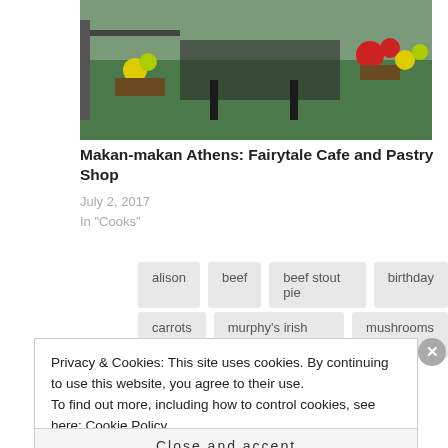[Figure (photo): Outdoor patio or rooftop garden area with green lawn, wooden furniture, and flowering plants in red and yellow]
Makan-makan Athens: Fairytale Cafe and Pastry Shop
July 2, 2017
In "Cooks"
alison
beef
beef stout pie
birthday
carrots
murphy's irish stout
mushrooms
Privacy & Cookies: This site uses cookies. By continuing to use this website, you agree to their use.
To find out more, including how to control cookies, see here: Cookie Policy
Close and accept